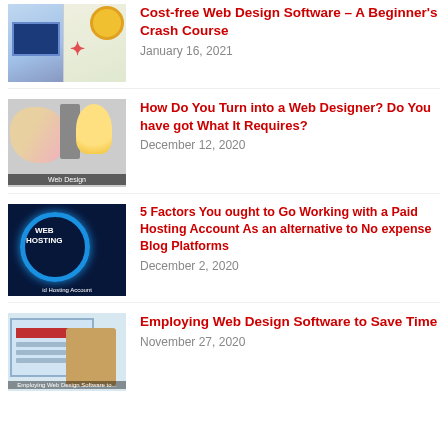[Figure (illustration): Thumbnail image for web design software article showing a computer screen and colorful design elements]
Cost-free Web Design Software – A Beginner's Crash Course
January 16, 2021
[Figure (illustration): Thumbnail image showing a brain illustration, a person, and a lightbulb with 'Web Design' label]
How Do You Turn into a Web Designer? Do You have got What It Requires?
December 12, 2020
[Figure (illustration): Thumbnail image showing a dark background with a glowing ring and 'WEB HOSTING' text]
5 Factors You ought to Go Working with a Paid Hosting Account As an alternative to No expense Blog Platforms
December 2, 2020
[Figure (screenshot): Thumbnail showing a web design software screenshot with a robotic figure]
Employing Web Design Software to Save Time
November 27, 2020